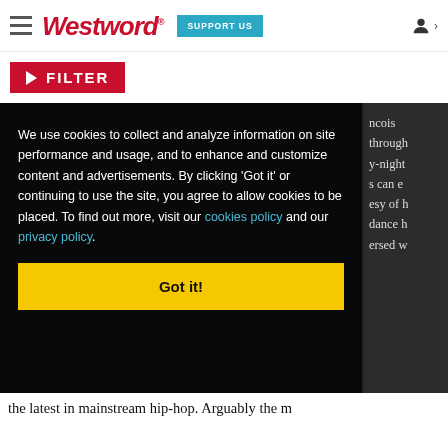Westword — SUPPORT US
FILTER
We use cookies to collect and analyze information on site performance and usage, and to enhance and customize content and advertisements. By clicking 'Got it' or continuing to use the site, you agree to allow cookies to be placed. To find out more, visit our cookies policy and our privacy policy.
Got it!
ncois through y-night s can e esy of h dance h ersed w
the latest in mainstream hip-hop. Arguably the m